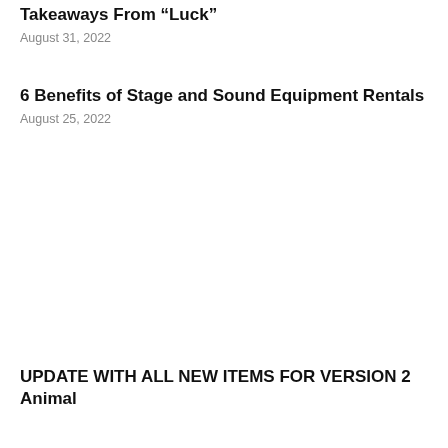Takeaways From “Luck”
August 31, 2022
6 Benefits of Stage and Sound Equipment Rentals
August 25, 2022
UPDATE WITH ALL NEW ITEMS FOR VERSION 2 Animal